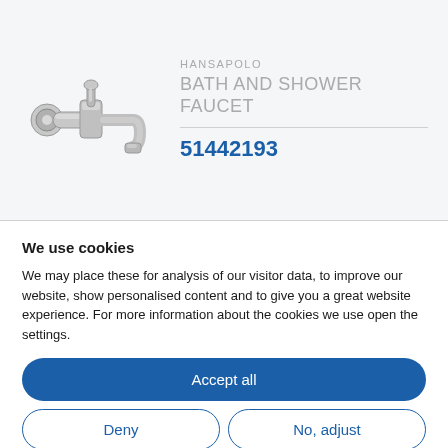[Figure (photo): Chrome bath and shower faucet/mixer tap product image on light grey background]
HANSAPOLO
BATH AND SHOWER FAUCET
51442193
We use cookies
We may place these for analysis of our visitor data, to improve our website, show personalised content and to give you a great website experience. For more information about the cookies we use open the settings.
Accept all
Deny
No, adjust